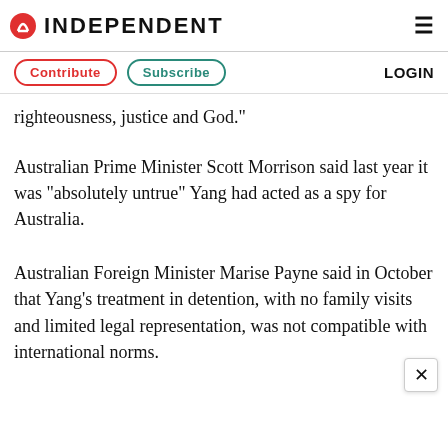INDEPENDENT
righteousness, justice and God."
Australian Prime Minister Scott Morrison said last year it was "absolutely untrue" Yang had acted as a spy for Australia.
Australian Foreign Minister Marise Payne said in October that Yang's treatment in detention, with no family visits and limited legal representation, was not compatible with international norms.